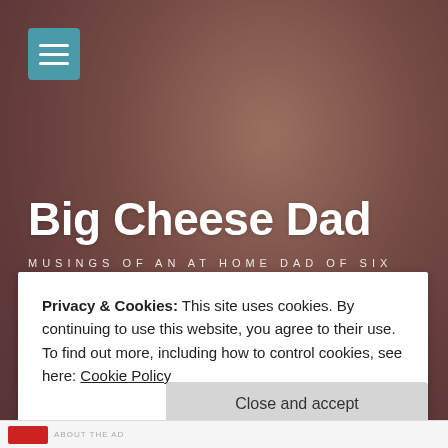[Figure (screenshot): Hero background image of a food item (appears to be a cheesy baked dish) with warm reddish-brown tones, blurred background style]
Big Cheese Dad
MUSINGS OF AN AT HOME DAD OF SIX
Privacy & Cookies: This site uses cookies. By continuing to use this website, you agree to their use.
To find out more, including how to control cookies, see here: Cookie Policy
Close and accept